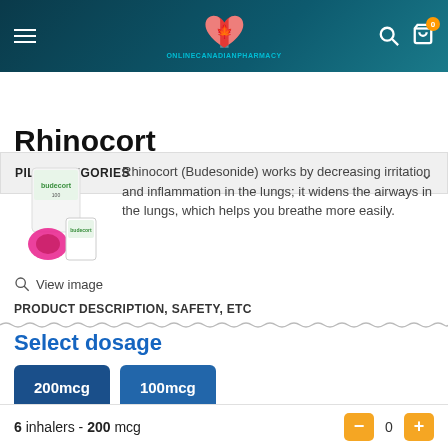[Figure (screenshot): Online Canadian Pharmacy website header with logo (heart with Canadian flag), hamburger menu, search icon, and cart icon with badge showing 0]
PILL CATEGORIES
Rhinocort
Rhinocort (Budesonide) works by decreasing irritation and inflammation in the lungs; it widens the airways in the lungs, which helps you breathe more easily.
View image
PRODUCT DESCRIPTION, SAFETY, ETC
Select dosage
200mcg
100mcg
6 inhalers - 200 mcg